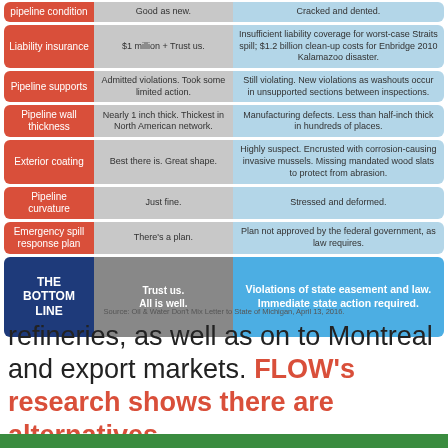[Figure (infographic): Comparison table infographic with rows for pipeline condition topics. Each row has three columns: a red label cell (topic), a gray center cell (Enbridge claim), and a blue right cell (reality/criticism). Topics: pipeline condition, liability insurance, pipeline supports, pipeline wall thickness, exterior coating, pipeline curvature, emergency spill response plan. Bottom row is THE BOTTOM LINE with dark blue, gray, and blue cells.]
Source: Oil & Water Don't Mix Letter to State of Michigan, April 13, 2016.
refineries, as well as on to Montreal and export markets. FLOW's research shows there are alternatives